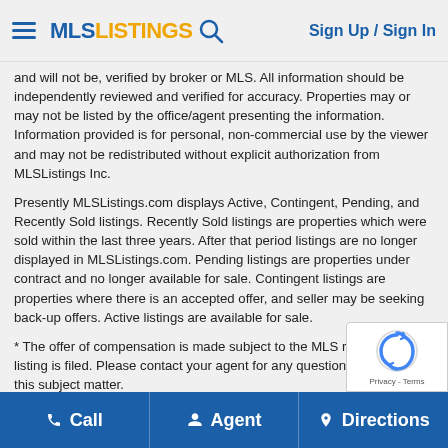MLSListings | Sign Up / Sign In
and will not be, verified by broker or MLS. All information should be independently reviewed and verified for accuracy. Properties may or may not be listed by the office/agent presenting the information. Information provided is for personal, non-commercial use by the viewer and may not be redistributed without explicit authorization from MLSListings Inc.
Presently MLSListings.com displays Active, Contingent, Pending, and Recently Sold listings. Recently Sold listings are properties which were sold within the last three years. After that period listings are no longer displayed in MLSListings.com. Pending listings are properties under contract and no longer available for sale. Contingent listings are properties where there is an accepted offer, and seller may be seeking back-up offers. Active listings are available for sale.
* The offer of compensation is made subject to the MLS rules where the listing is filed. Please contact your agent for any questions concerning this subject matter.
This listing information is up-to-date as of June 25, 2022. For the most current information, please contact Simon Zhang, (408) 750-4601
Call | Agent | Directions